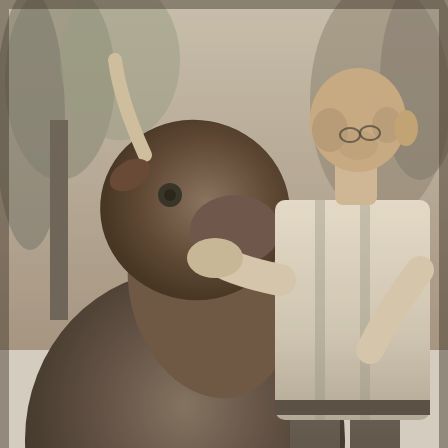[Figure (photo): Black and white photograph of a man (Joseph James Homer) leaning forward and kissing a cow (Annabela) on the face/snout. The man wears a white shirt and dark trousers with suspenders. The cow is dark-colored with a visible horn. Trees and outdoor surroundings visible in the background.]
Joseph James Homer kissing Annabela goodbye when he sold his dairy at Mona Vale in 1950. Supplied by Kevin Hawkins
Mona Vale milk ban is withdrawn
The Milk and Ice Carters' Union late today withdrew its ban on milk supplies to Mona Vale vendor J. Homer.
Justice de Baun announced this following a compulsory conference of the parties in the Industrial Commission. He said Mr. Homer's customers would